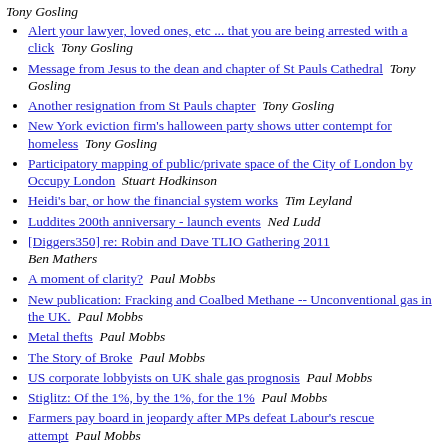Tony Gosling
Alert your lawyer, loved ones, etc ... that you are being arrested with a click   Tony Gosling
Message from Jesus to the dean and chapter of St Pauls Cathedral   Tony Gosling
Another resignation from St Pauls chapter   Tony Gosling
New York eviction firm's halloween party shows utter contempt for homeless   Tony Gosling
Participatory mapping of public/private space of the City of London by Occupy London   Stuart Hodkinson
Heidi's bar, or how the financial system works   Tim Leyland
Luddites 200th anniversary - launch events   Ned Ludd
[Diggers350] re: Robin and Dave TLIO Gathering 2011   Ben Mathers
A moment of clarity?   Paul Mobbs
New publication: Fracking and Coalbed Methane -- Unconventional gas in the UK.   Paul Mobbs
Metal thefts   Paul Mobbs
The Story of Broke   Paul Mobbs
US corporate lobbyists on UK shale gas prognosis   Paul Mobbs
Stiglitz: Of the 1%, by the 1%, for the 1%   Paul Mobbs
Farmers pay board in jeopardy after MPs defeat Labour's rescue attempt   Paul Mobbs
Cover-up at St Paul's -- Clerics suppress report on bankers'